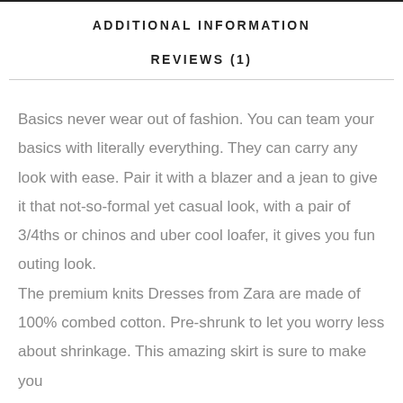ADDITIONAL INFORMATION
REVIEWS (1)
Basics never wear out of fashion. You can team your basics with literally everything. They can carry any look with ease. Pair it with a blazer and a jean to give it that not-so-formal yet casual look, with a pair of 3/4ths or chinos and uber cool loafer, it gives you fun outing look.
The premium knits Dresses from Zara are made of 100% combed cotton. Pre-shrunk to let you worry less about shrinkage. This amazing skirt is sure to make you